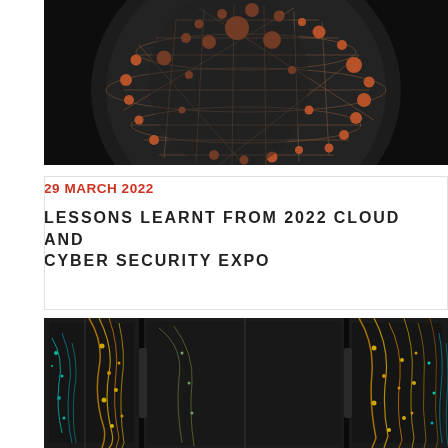[Figure (photo): Dark 3D rendered sphere with hexagonal wireframe structure and copper/bronze colored spherical nodes scattered across its surface, on a black background]
29 MARCH 2022
LESSONS LEARNT FROM 2022 CLOUD AND CYBER SECURITY EXPO
[Figure (photo): Dark server room with illuminated network cables and glowing data visualization overlays — orange, yellow, green and cyan light trails across server racks]